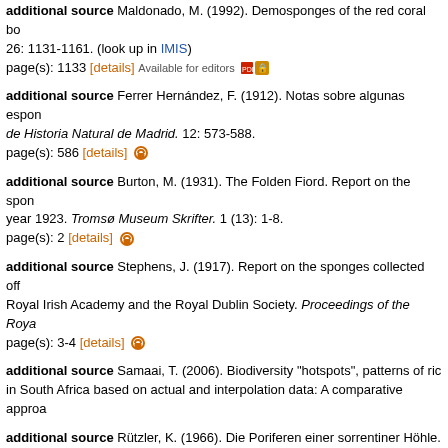additional source Maldonado, M. (1992). Demosponges of the red coral b... 26: 1131-1161. (look up in IMIS) page(s): 1133 [details] Available for editors
additional source Ferrer Hernández, F. (1912). Notas sobre algunas espon... de Historia Natural de Madrid. 12: 573-588. page(s): 586 [details]
additional source Burton, M. (1931). The Folden Fiord. Report on the spon... year 1923. Tromsø Museum Skrifter. 1 (13): 1-8. page(s): 2 [details]
additional source Stephens, J. (1917). Report on the sponges collected off... Royal Irish Academy and the Royal Dublin Society. Proceedings of the Roya... page(s): 3-4 [details]
additional source Samaai, T. (2006). Biodiversity "hotspots", patterns of ric... in South Africa based on actual and interpolation data: A comparative approa...
additional source Rützler, K. (1966). Die Poriferen einer sorrentiner Höhle. ... 1952. Teil. XVIII. Zoologischer Anzeiger. 176 (5), 303-319. page(s): 312 [details] Available for editors
additional source Pansini, M. (1987). Report on a collection of Demospong... Jones WC (ed) European contributions to the taxonomy of sponges. Publica... page(s): 43 [details]
additional source Cruz, T. (2002). Esponjas marinas de Canarias. Conseje... de Canarias. S/C Tenerife. 260 pp. [details] Available for editors
additional source Voultsiadou, E. (2005). Sponge diversity in the Aegean S...